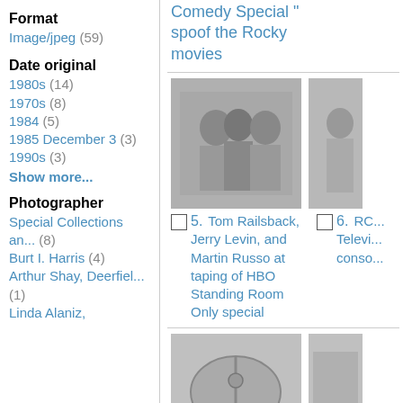Format
Image/jpeg (59)
Date original
1980s (14)
1970s (8)
1984 (5)
1985 December 3 (3)
1990s (3)
Show more...
Photographer
Special Collections an... (8)
Burt I. Harris (4)
Arthur Shay, Deerfiel... (1)
Linda Alaniz,
Comedy Special " spoof the Rocky movies
[Figure (photo): Black and white photo of three men standing together, likely at an HBO event]
5. Tom Railsback, Jerry Levin, and Martin Russo at taping of HBO Standing Room Only special
6. RC... Televi... conso...
[Figure (photo): Partial black and white photo of a person at right edge]
[Figure (photo): Black and white photo of a satellite dish or large antenna on a tripod]
[Figure (photo): Partial photo at right edge, bottom row]